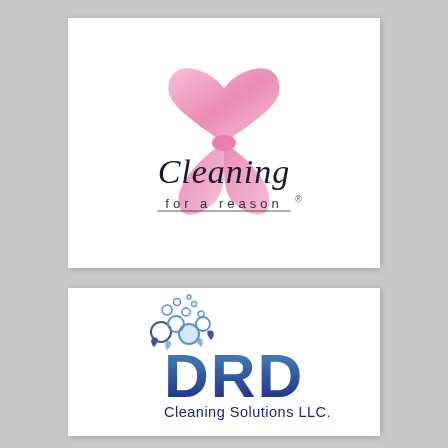[Figure (logo): Cleaning for a reason logo with pink ribbon and script/serif text]
[Figure (logo): DRD Cleaning Solutions LLC. logo with blue bubble clusters and bold navy DRD text]